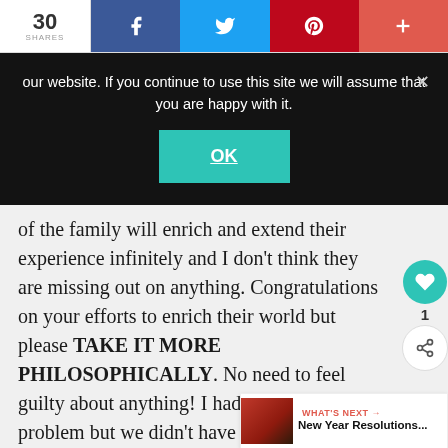30 SHARES | Facebook | Twitter | Pinterest | More
our website. If you continue to use this site we will assume that you are happy with it.
OK
of the family will enrich and extend their experience infinitely and I don't think they are missing out on anything. Congratulations on your efforts to enrich their world but please TAKE IT MORE PHILOSOPHICALLY. No need to feel guilty about anything! I had the same problem but we didn't have Skype or videos or even mobiles and my
WHAT'S NEXT → New Year Resolutions...